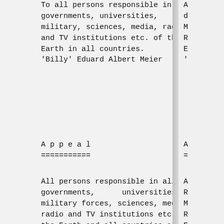To all persons responsible in governments, universities, military, sciences, media, radio and TV institutions etc. of the Earth in all countries.
'Billy' Eduard Albert Meier
A p p e a l
===========
All persons responsible in all governments,      universities, military forces, sciences, media, radio and TV institutions etc. of the Earth and all countries are called upon to consider and take note of the following and to take